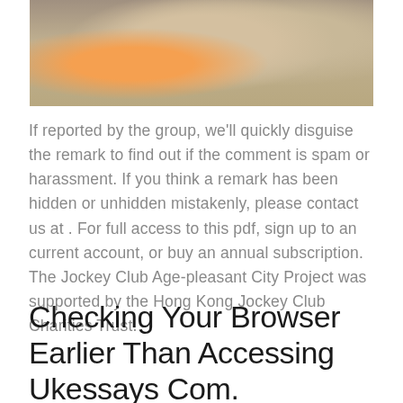[Figure (photo): Photo of two people, one lying down and one sitting beside them, appearing to be in a caregiving or resting scene with orange and white clothing visible.]
If reported by the group, we'll quickly disguise the remark to find out if the comment is spam or harassment. If you think a remark has been hidden or unhidden mistakenly, please contact us at . For full access to this pdf, sign up to an current account, or buy an annual subscription. The Jockey Club Age-pleasant City Project was supported by the Hong Kong Jockey Club Charities Trust.
Checking Your Browser Earlier Than Accessing Ukessays Com.